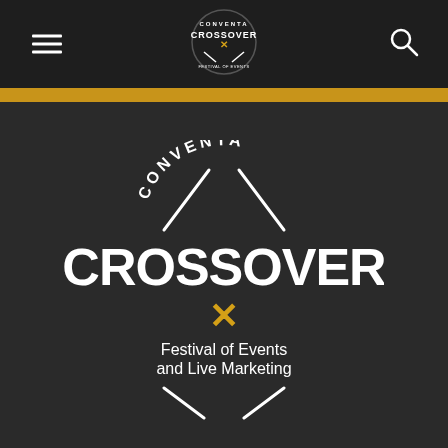[Figure (logo): Small Conventa Crossover logo badge in header center]
[Figure (logo): Large Conventa Crossover Festival of Events and Live Marketing logo with decorative crossed lines, arched text CONVENTA above, large CROSSOVER text, golden X, and tagline Festival of Events and Live Marketing]